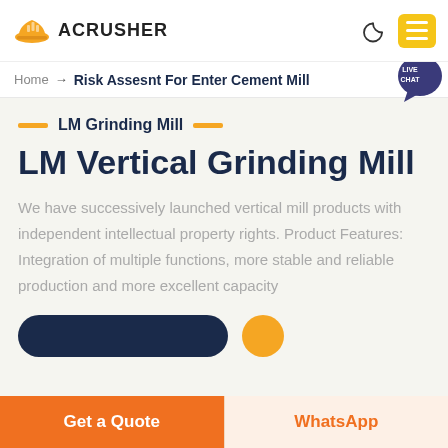ACRUSHER
Home → Risk Assesnt For Enter Cement Mill
LM Grinding Mill
LM Vertical Grinding Mill
We have successively launched vertical mill products with independent intellectual property rights. Product Features: Integration of multiple functions, more stable and reliable production and more excellent capacity
Get a Quote
WhatsApp